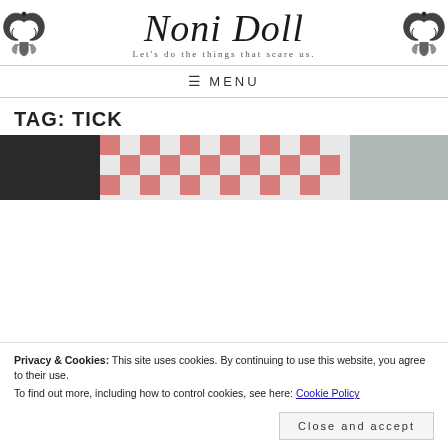[Figure (logo): Noni Doll blog logo with decorative ornaments on left and right, script text 'Noni Doll' and subtitle 'Let's do the things that scare us.']
≡ MENU
TAG: TICK
[Figure (photo): Partial photo showing a red and white gingham/checkered fabric ribbon on a dark slate surface]
Privacy & Cookies: This site uses cookies. By continuing to use this website, you agree to their use.
To find out more, including how to control cookies, see here: Cookie Policy
Close and accept